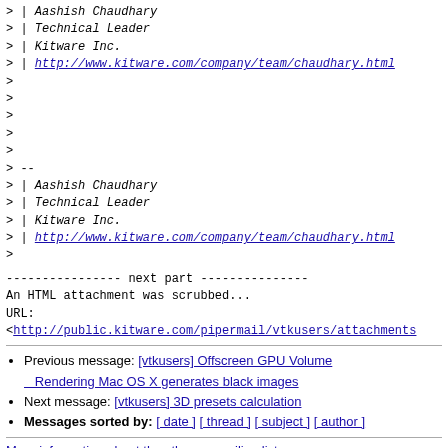> | Aashish Chaudhary
> | Technical Leader
> | Kitware Inc.
> | http://www.kitware.com/company/team/chaudhary.html
>
>
>
>
>
> --
> | Aashish Chaudhary
> | Technical Leader
> | Kitware Inc.
> | http://www.kitware.com/company/team/chaudhary.html
>
---------------- next part ---------------
An HTML attachment was scrubbed...
URL:
<http://public.kitware.com/pipermail/vtkusers/attachments
Previous message: [vtkusers] Offscreen GPU Volume Rendering Mac OS X generates black images
Next message: [vtkusers] 3D presets calculation
Messages sorted by: [ date ] [ thread ] [ subject ] [ author ]
More information about the vtkusers mailing list